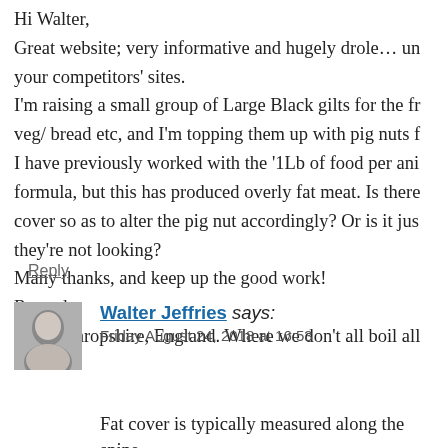Hi Walter,
Great website; very informative and hugely drole… un your competitors' sites.
I'm raising a small group of Large Black gilts for the fr veg/ bread etc, and I'm topping them up with pig nuts f I have previously worked with the '1Lb of food per ani formula, but this has produced overly fat meat. Is there cover so as to alter the pig nut accordingly? Or is it jus they're not looking?
Many thanks, and keep up the good work!
Regards,
IainC, Shropshire, England. Where we don't all boil all
Reply
Walter Jeffries says:
Friday August 24, 2018 at 16:53
Fat cover is typically measured along the spine was a special knife they stuck down to the bon